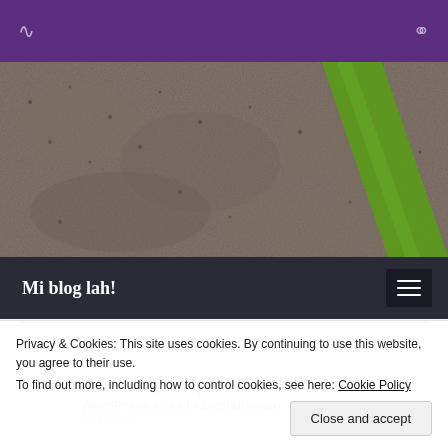Mi blog lah!
[Figure (photo): Close-up macro photo of textured brown/grey surface with a green diagonal stripe running through it — appears to be a plant stem or bark texture]
Mi blog lah!
TAG: VPS
How to setup multiple WordPress sites in DigitalOcean containers
Privacy & Cookies: This site uses cookies. By continuing to use this website, you agree to their use.
To find out more, including how to control cookies, see here: Cookie Policy
Close and accept